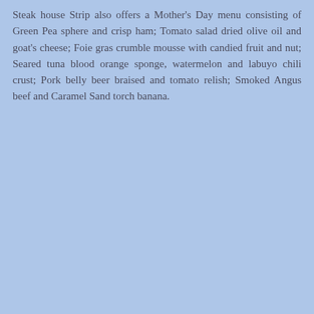Steak house Strip also offers a Mother's Day menu consisting of Green Pea sphere and crisp ham; Tomato salad dried olive oil and goat's cheese; Foie gras crumble mousse with candied fruit and nut; Seared tuna blood orange sponge, watermelon and labuyo chili crust; Pork belly beer braised and tomato relish; Smoked Angus beef and Caramel Sand torch banana.